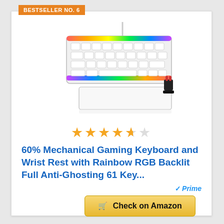BESTSELLER NO. 6
[Figure (photo): White 60% mechanical gaming keyboard with rainbow RGB backlighting and a wrist rest accessory, shown at an angle with a key switch puller tool beside it.]
★★★★☆ (4.5 stars)
60% Mechanical Gaming Keyboard and Wrist Rest with Rainbow RGB Backlit Full Anti-Ghosting 61 Key...
✓Prime
🛒 Check on Amazon